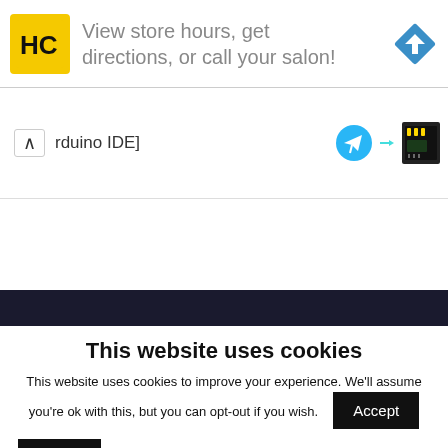[Figure (infographic): Advertisement banner with HC logo, text 'View store hours, get directions, or call your salon!' and a blue diamond direction icon]
rduino IDE]
[Figure (infographic): Telegram icon (blue circle with paper plane) and a small circuit board image]
This website uses cookies
This website uses cookies to improve your experience. We'll assume you're ok with this, but you can opt-out if you wish.
Accept
Reject
Read More